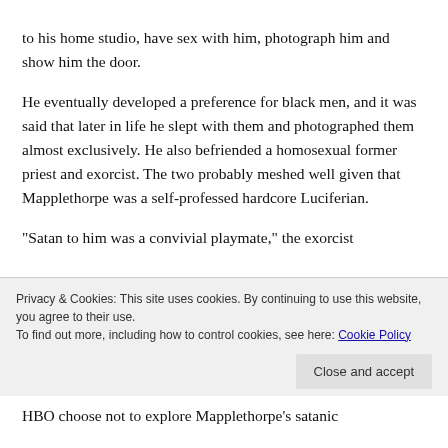to his home studio, have sex with him, photograph him and show him the door.
He eventually developed a preference for black men, and it was said that later in life he slept with them and photographed them almost exclusively. He also befriended a homosexual former priest and exorcist. The two probably meshed well given that Mapplethorpe was a self-professed hardcore Luciferian.
“Satan to him was a convivial playmate,” the exorcist
Privacy & Cookies: This site uses cookies. By continuing to use this website, you agree to their use.
To find out more, including how to control cookies, see here: Cookie Policy
HBO choose not to explore Mapplethorpe’s satanic